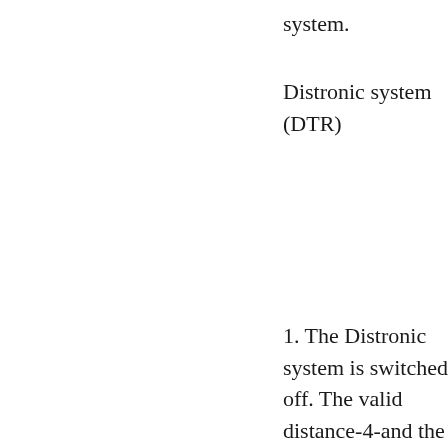system.
Distronic system (DTR)
1. The Distronic system is switched off. The valid distance-4-and the